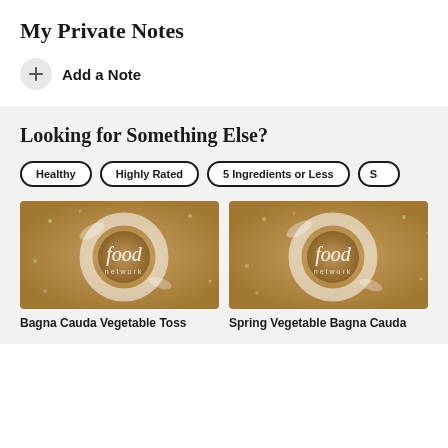My Private Notes
+ Add a Note
Looking for Something Else?
Healthy
Highly Rated
5 Ingredients or Less
[Figure (photo): Food Network logo placeholder image for Bagna Cauda Vegetable Toss recipe]
Bagna Cauda Vegetable Toss
[Figure (photo): Food Network logo placeholder image for Spring Vegetable Bagna Cauda recipe]
Spring Vegetable Bagna Cauda